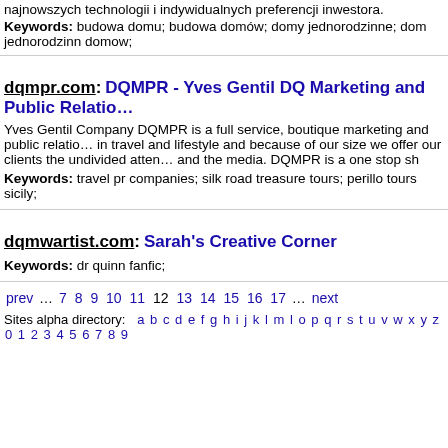najnowszych technologii i indywidualnych preferencji inwestora.
Keywords: budowa domu; budowa domów; domy jednorodzinne; dom jednorodzinn domow;
dqmpr.com: DQMPR - Yves Gentil DQ Marketing and Public Relatio…
Yves Gentil Company DQMPR is a full service, boutique marketing and public relatio… in travel and lifestyle and because of our size we offer our clients the undivided atten… and the media. DQMPR is a one stop sh
Keywords: travel pr companies; silk road treasure tours; perillo tours sicily;
dqmwartist.com: Sarah's Creative Corner
Keywords: dr quinn fanfic;
prev … 7 8 9 10 11 12 13 14 15 16 17 … next
Sites alpha directory: a b c d e f g h i j k l m l o p q r s t u v w x y z 0 1 2 3 4 5 6 7 8 9